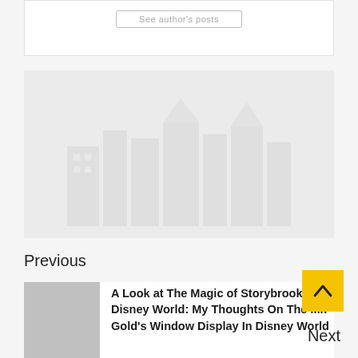[Figure (screenshot): Search button UI element with placeholder text]
[Figure (photo): Large image placeholder with faint building/cityscape silhouette watermark on light grey background]
Previous
[Figure (photo): Small grey thumbnail image for navigation link]
A Look at The Magic of Storybrooke In Disney World: My Thoughts On The Mr. Gold's Window Display In Disney World
Next